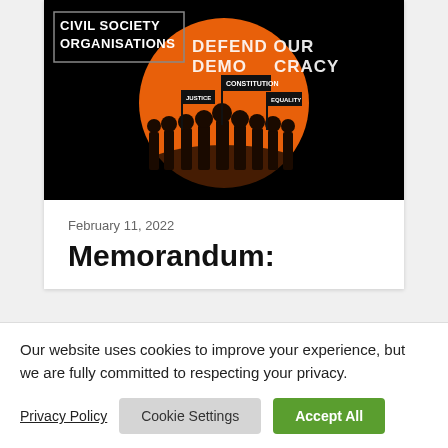[Figure (illustration): Civil Society Organisations banner with 'Defend Our Democracy' text on black background, featuring orange circle with silhouettes of protesters holding flags labeled CONSTITUTION, JUSTICE, and EQUALITY]
February 11, 2022
Memorandum:
Our website uses cookies to improve your experience, but we are fully committed to respecting your privacy.